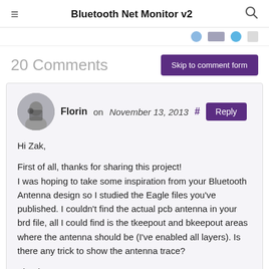≡  Bluetooth Net Monitor v2  🔍
20 Comments
Skip to comment form
Florin on November 13, 2013 # Reply
Hi Zak,

First of all, thanks for sharing this project!
I was hoping to take some inspiration from your Bluetooth Antenna design so I studied the Eagle files you've published. I couldn't find the actual pcb antenna in your brd file, all I could find is the tkeepout and bkeepout areas where the antenna should be (I've enabled all layers). Is there any trick to show the antenna trace?

Thanks!